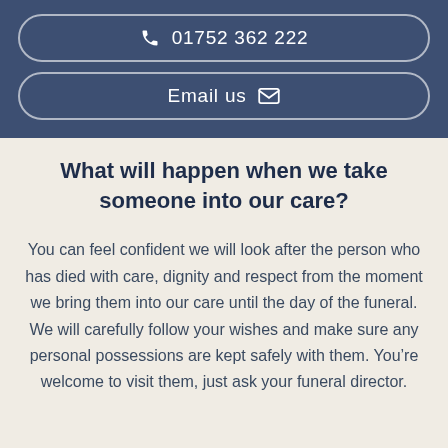01752 362 222
Email us
What will happen when we take someone into our care?
You can feel confident we will look after the person who has died with care, dignity and respect from the moment we bring them into our care until the day of the funeral. We will carefully follow your wishes and make sure any personal possessions are kept safely with them. You’re welcome to visit them, just ask your funeral director.